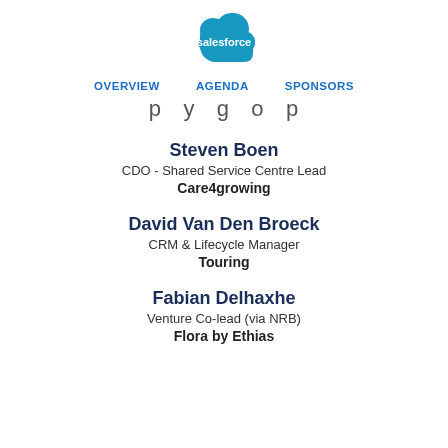[Figure (logo): Salesforce cloud logo in blue with white text 'salesforce']
OVERVIEW   AGENDA   SPONSORS
p  y  g  o  p
Steven Boen
CDO - Shared Service Centre Lead
Care4growing
David Van Den Broeck
CRM & Lifecycle Manager
Touring
Fabian Delhaxhe
Venture Co-lead (via NRB)
Flora by Ethias